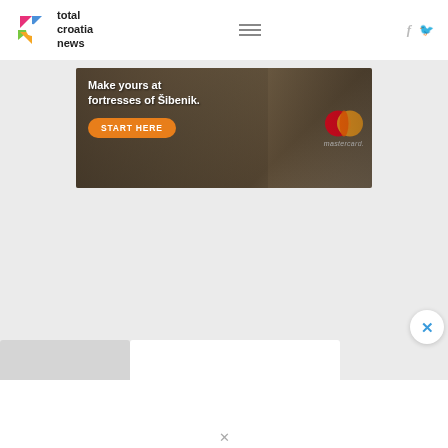total croatia news
[Figure (photo): Advertisement banner showing fortresses of Šibenik with Mastercard branding. Text reads 'Make yours at fortresses of Šibenik.' with an orange 'START HERE' button and Mastercard logo on the right.]